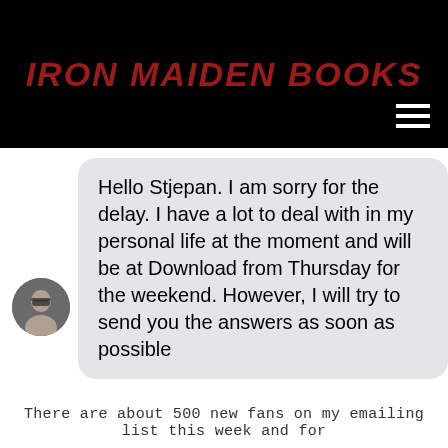IRON MAIDEN BOOKS
Hello Stjepan. I am sorry for the delay. I have a lot to deal with in my personal life at the moment and will be at Download from Thursday for the weekend. However, I will try to send you the answers as soon as possible
There are about 500 new fans on my emailing list this week and for